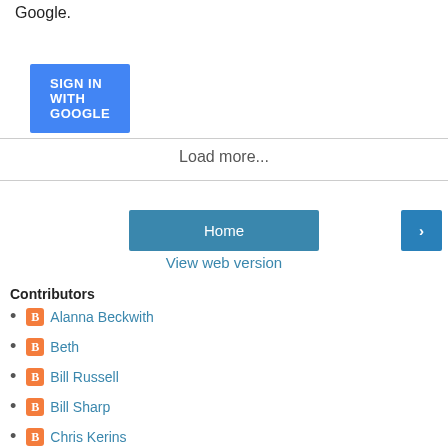Google.
SIGN IN WITH GOOGLE
Load more...
Home
>
View web version
Contributors
Alanna Beckwith
Beth
Bill Russell
Bill Sharp
Chris Kerins